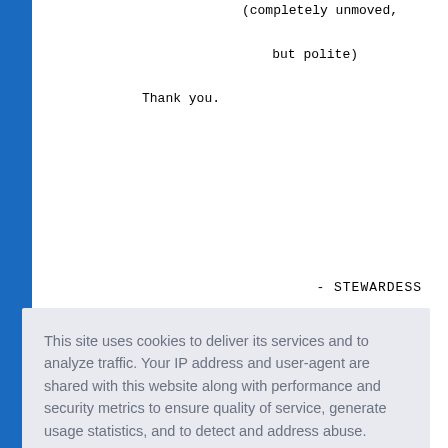(completely unmoved,

    but polite)

Thank you.
STEWARDESS
[Figure (screenshot): Cookie consent overlay dialog with text about cookies, a 'Learn more' link, and a 'Got it!' button]
at the reservations desk.  Desperation.